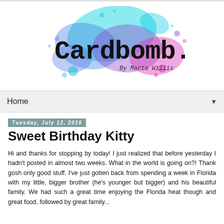[Figure (logo): Cardbomb blog logo with colorful watercolor paint splash background (cyan, blue, purple, magenta) and 'Cardbomb.' text in black typewriter-style font, with 'By Marta Willis' subtitle]
Home ▼
Tuesday, July 12, 2016
Sweet Birthday Kitty
Hi and thanks for stopping by today! I just realized that before yesterday I hadn't posted in almost two weeks. What in the world is going on?! Thank gosh only good stuff. I've just gotten back from spending a week in Florida with my little, bigger brother (he's younger but bigger) and his beautiful family. We had such a great time enjoying the Florida heat though and great food, followed by great family...